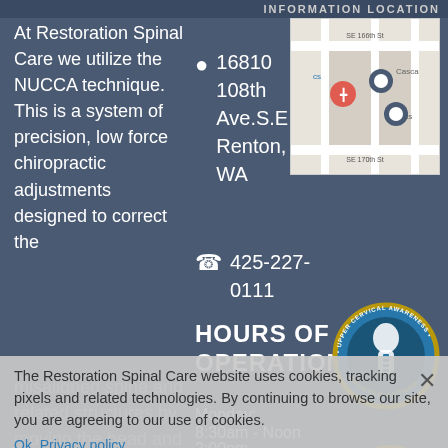INFORMATION LOCATION
At Restoration Spinal Care we utilize the NUCCA technique. This is a system of precision, low force chiropractic adjustments designed to correct the misaligned spine and related structures by moving the head and neck
16810 108th Ave.S.E. Renton, WA
425-227-0111
[Figure (map): Google Maps view showing location near SE 166th St and SE 170th St, with map pins for the clinic and nearby landmarks including Casca and Bens]
HOURS OF OPERATION
[Figure (logo): Upper Cervical Awareness Trusted Author badge/seal - circular badge with head and spine illustration]
The Restoration Spinal Care website uses cookies, tracking pixels and related technologies. By continuing to browse our site, you are agreeing to our use of cookies.
Monday:
8:30am - Noon
2:00pm -